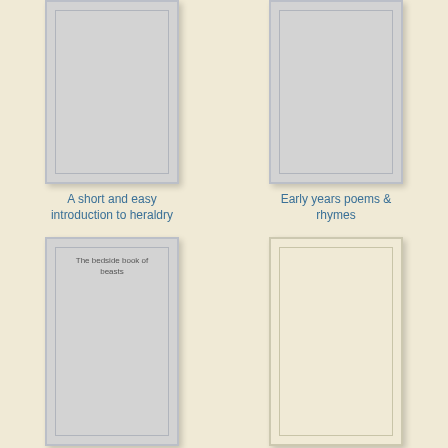[Figure (illustration): Book cover placeholder - gray rectangle with inner border frame]
A short and easy introduction to heraldry
[Figure (illustration): Book cover placeholder - gray rectangle with inner border frame]
Early years poems & rhymes
[Figure (illustration): Book cover placeholder - gray rectangle with inner border frame and text 'The bedside book of beasts']
The bedside book of beasts
[Figure (illustration): Book cover placeholder - cream/beige rectangle with inner border frame]
Three from Galilee